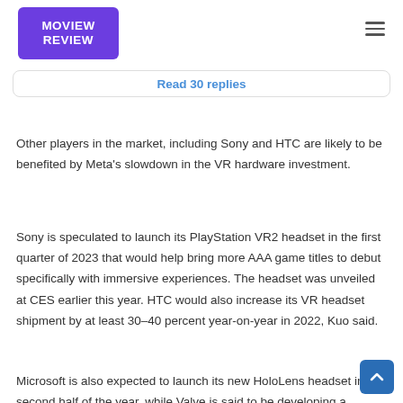MOVIEW REVIEW
Read 30 replies
Other players in the market, including Sony and HTC are likely to be benefited by Meta's slowdown in the VR hardware investment.
Sony is speculated to launch its PlayStation VR2 headset in the first quarter of 2023 that would help bring more AAA game titles to debut specifically with immersive experiences. The headset was unveiled at CES earlier this year. HTC would also increase its VR headset shipment by at least 30–40 percent year-on-year in 2022, Kuo said.
Microsoft is also expected to launch its new HoloLens headset in the second half of the year, while Valve is said to be developing a